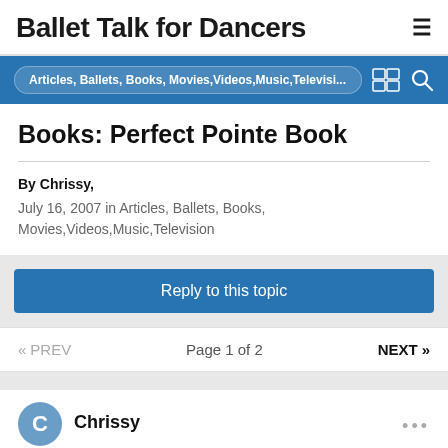Ballet Talk for Dancers
Books: Perfect Pointe Book
By Chrissy,
July 16, 2007 in Articles, Ballets, Books, Movies,Videos,Music,Television
Reply to this topic
« PREV   Page 1 of 2   NEXT »
Chrissy